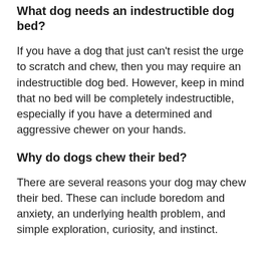What dog needs an indestructible dog bed?
If you have a dog that just can't resist the urge to scratch and chew, then you may require an indestructible dog bed. However, keep in mind that no bed will be completely indestructible, especially if you have a determined and aggressive chewer on your hands.
Why do dogs chew their bed?
There are several reasons your dog may chew their bed. These can include boredom and anxiety, an underlying health problem, and simple exploration, curiosity, and instinct.